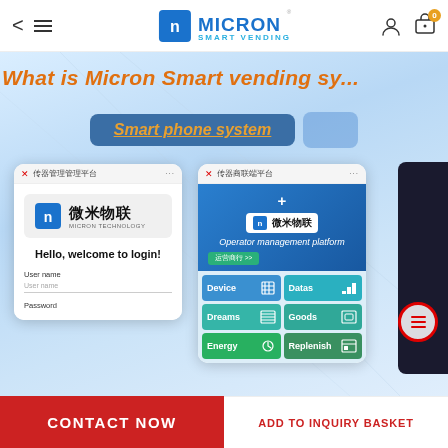Micron Smart Vending - navigation header with logo, cart (0)
[Figure (screenshot): Micron Smart Vending website product page showing 'What is Micron Smart vending sy...' title, Smart phone system button, and two phone screenshots: one showing WeChat/app login screen with 微米物联 logo and 'Hello, welcome to login!', and one showing Operator management platform with device grid menu (Device, Datas, Dreams, Goods, Energy, Replenish)]
CONTACT NOW
ADD TO INQUIRY BASKET